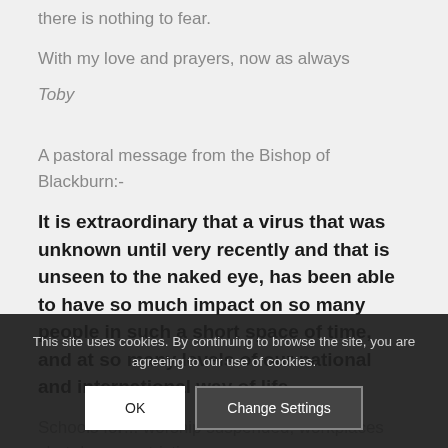there is nothing to fear.
With my love and prayers, now as always
Toby
A pastoral message from the Bishop of Blackburn:-
It is extraordinary that a virus that was unknown until very recently and that is unseen to the naked eye, has been able to have so much impact on so many people in such a short space of time, and at so many levels of our national and international way of life.
Schools fo... worship suspended; workplaces shut down; restrictions
This site uses cookies. By continuing to browse the site, you are agreeing to our use of cookies.